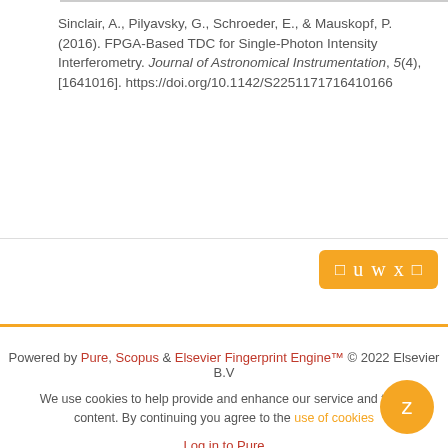Sinclair, A., Pilyavsky, G., Schroeder, E., & Mauskopf, P. (2016). FPGA-Based TDC for Single-Photon Intensity Interferometry. Journal of Astronomical Instrumentation, 5(4), [1641016]. https://doi.org/10.1142/S2251171716410166
[Figure (other): Yellow button with share/social icons including letters u w x]
Powered by Pure, Scopus & Elsevier Fingerprint Engine™ © 2022 Elsevier B.V
We use cookies to help provide and enhance our service and tailor content. By continuing you agree to the use of cookies
Log in to Pure
About web accessibility
Contact us